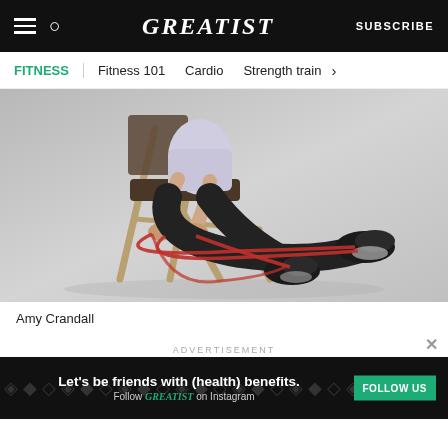GREATIST | SUBSCRIBE
FITNESS | Fitness 101 | Cardio | Strength train >
[Figure (photo): Person seated on a folding chair performing a resistance band leg extension exercise. The person wears black pants and black sneakers. A red resistance band is looped around the chair legs and both feet.]
Amy Crandall
ADVERTISEMENT
[Figure (infographic): Advertisement banner: Let's be friends with (health) benefits. Follow GREATIST on Instagram. FOLLOW US button in green.]